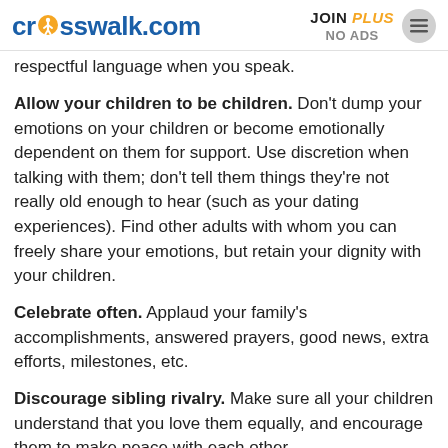crosswalk.com | JOIN PLUS NO ADS
respectful language when you speak.
Allow your children to be children. Don't dump your emotions on your children or become emotionally dependent on them for support. Use discretion when talking with them; don't tell them things they're not really old enough to hear (such as your dating experiences). Find other adults with whom you can freely share your emotions, but retain your dignity with your children.
Celebrate often. Applaud your family's accomplishments, answered prayers, good news, extra efforts, milestones, etc.
Discourage sibling rivalry. Make sure all your children understand that you love them equally, and encourage them to make peace with each other.